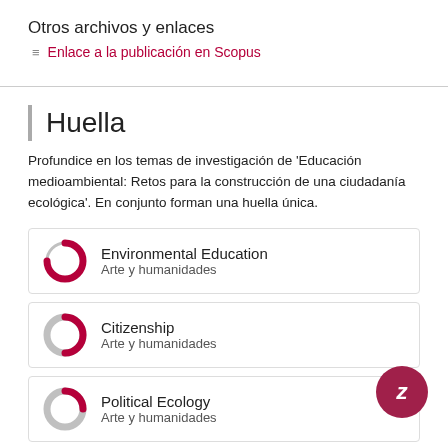Otros archivos y enlaces
Enlace a la publicación en Scopus
Huella
Profundice en los temas de investigación de 'Educación medioambiental: Retos para la construcción de una ciudadanía ecológica'. En conjunto forman una huella única.
Environmental Education
Arte y humanidades
Citizenship
Arte y humanidades
Political Ecology
Arte y humanidades